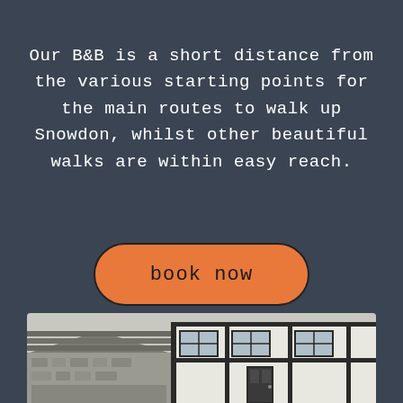Our B&B is a short distance from the various starting points for the main routes to walk up Snowdon, whilst other beautiful walks are within easy reach.
[Figure (other): Orange rounded rectangle button with text 'book now' in dark color, on a dark slate-blue background]
[Figure (photo): Black and white photo of a traditional Welsh stone and whitewashed building with slate roof, showing windows and architectural details at bottom of page]